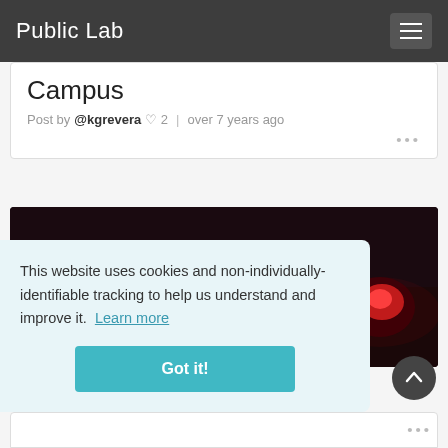Public Lab
Campus
Post by @kgrevera  2  |  over 7 years ago
[Figure (photo): Dark photo showing glowing cyan and red lit objects/devices on a surface at night]
This website uses cookies and non-individually-identifiable tracking to help us understand and improve it. Learn more
Got it!